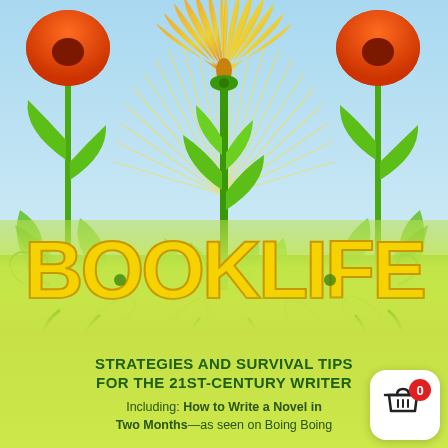[Figure (illustration): Book cover illustration: decorative green plants with vine-like stems and leaves growing upward against a light blue sky background. Three stylized flower-like forms at top — the center one is an open book with golden/orange pages fanned out like a sunflower, flanked by two red/orange poppy-like flowers. Golden sunburst rays radiate from behind the central book-flower. Ornate green vines and foliage fill the lower half, merging into the ground. The word BOOKLIFE appears in large bold yellow letters across the middle of the illustration.]
BOOKLIFE
STRATEGIES AND SURVIVAL TIPS FOR THE 21ST-CENTURY WRITER
Including: How to Write a Novel in Two Months—as seen on Boing Boing